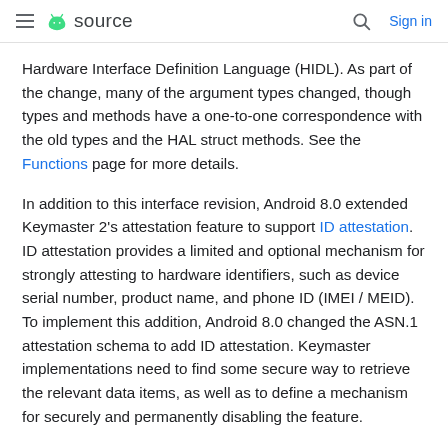≡ 🤖 source  🔍  Sign in
Hardware Interface Definition Language (HIDL). As part of the change, many of the argument types changed, though types and methods have a one-to-one correspondence with the old types and the HAL struct methods. See the Functions page for more details.
In addition to this interface revision, Android 8.0 extended Keymaster 2's attestation feature to support ID attestation. ID attestation provides a limited and optional mechanism for strongly attesting to hardware identifiers, such as device serial number, product name, and phone ID (IMEI / MEID). To implement this addition, Android 8.0 changed the ASN.1 attestation schema to add ID attestation. Keymaster implementations need to find some secure way to retrieve the relevant data items, as well as to define a mechanism for securely and permanently disabling the feature.